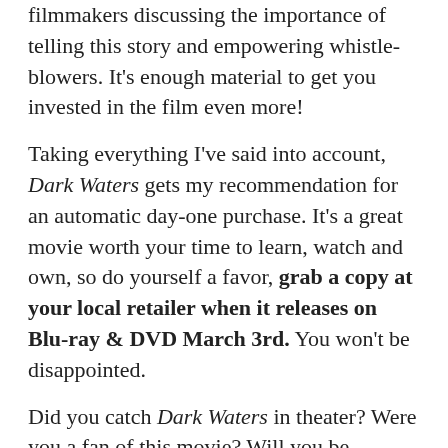filmmakers discussing the importance of telling this story and empowering whistle-blowers. It's enough material to get you invested in the film even more!
Taking everything I've said into account, Dark Waters gets my recommendation for an automatic day-one purchase. It's a great movie worth your time to learn, watch and own, so do yourself a favor, grab a copy at your local retailer when it releases on Blu-ray & DVD March 3rd. You won't be disappointed.
Did you catch Dark Waters in theater? Were you a fan of this movie? Will you be picking it up to own? Let me know what you think in the comments below.
Cheers,
Matt.
While your here, check out more of my 4K & Blu-ray